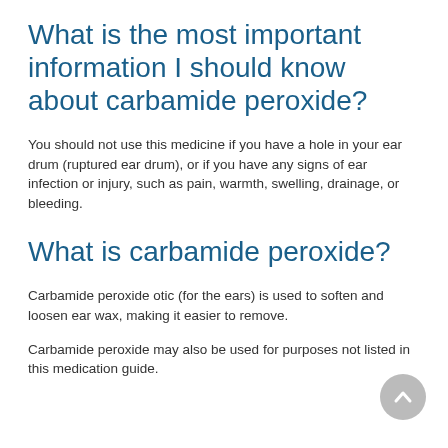What is the most important information I should know about carbamide peroxide?
You should not use this medicine if you have a hole in your ear drum (ruptured ear drum), or if you have any signs of ear infection or injury, such as pain, warmth, swelling, drainage, or bleeding.
What is carbamide peroxide?
Carbamide peroxide otic (for the ears) is used to soften and loosen ear wax, making it easier to remove.
Carbamide peroxide may also be used for purposes not listed in this medication guide.